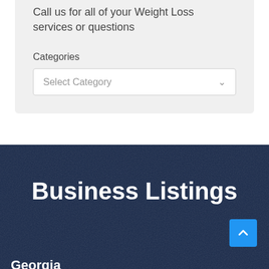Call us for all of your Weight Loss services or questions
Categories
Select Category
Business Listings
Georgia